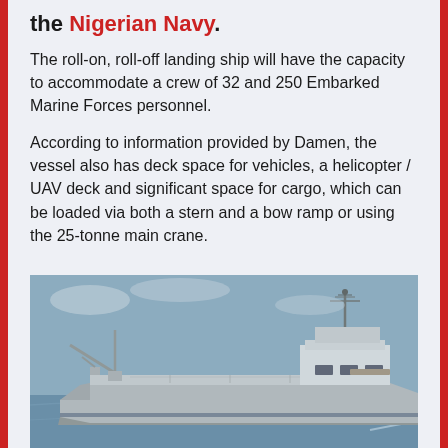the Nigerian Navy.
The roll-on, roll-off landing ship will have the capacity to accommodate a crew of 32 and 250 Embarked Marine Forces personnel.
According to information provided by Damen, the vessel also has deck space for vehicles, a helicopter / UAV deck and significant space for cargo, which can be loaded via both a stern and a bow ramp or using the 25-tonne main crane.
[Figure (photo): Rendering of a military landing ship (roll-on roll-off vessel) sailing on blue-gray water. The ship is gray, with a large flat deck, a prominent superstructure on the right side, a crane arm extending from the bow area on the left, and a mast with communications equipment on top.]